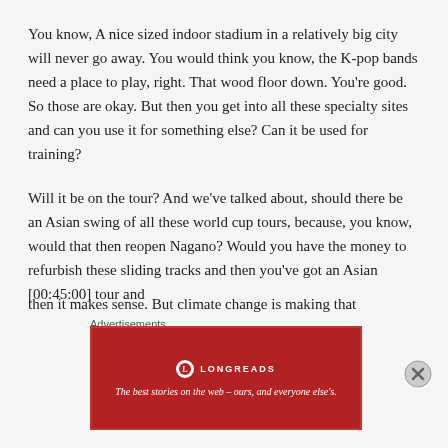You know, A nice sized indoor stadium in a relatively big city will never go away. You would think you know, the K-pop bands need a place to play, right. That wood floor down. You're good. So those are okay. But then you get into all these specialty sites and can you use it for something else? Can it be used for training?
Will it be on the tour? And we've talked about, should there be an Asian swing of all these world cup tours, because, you know, would that then reopen Nagano? Would you have the money to refurbish these sliding tracks and then you've got an Asian [00:45:00] tour and then it makes sense. But climate change is making that
Advertisements
[Figure (other): Longreads advertisement banner with red background. Logo circle with L, brand name LONGREADS, tagline: The best stories on the web — ours, and everyone else's.]